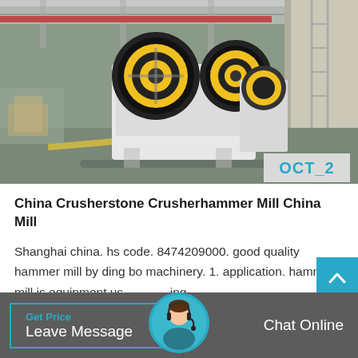[Figure (photo): Factory interior showing large white industrial jaw crusher machines with yellow/black flywheels on a concrete floor, industrial warehouse setting]
OCT_2
China Crusherstone Crusherhammer Mill China Mill
Shanghai china. hs code. 8474209000. good quality hammer mill by ding bo machinery. 1. application. hammer mill is equipment using highspeed rotary hammers to crush materials, mainly applied to
Get Price  Leave Message  Chat Online